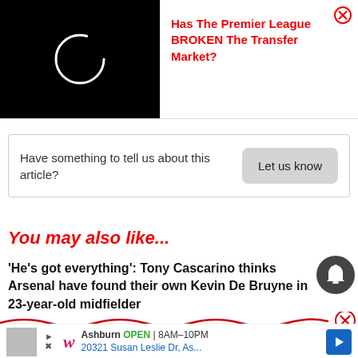[Figure (screenshot): Video thumbnail with black background and white circular loading/refresh icon]
Has The Premier League BROKEN The Transfer Market?
Have something to tell us about this article?
Let us know
You may also like...
'He's got everything': Tony Cascarino thinks Arsenal have found their own Kevin De Bruyne in 23-year-old midfielder
[Figure (screenshot): Walgreens ad: Ashburn OPEN 8AM-10PM, 20321 Susan Leslie Dr, As...]